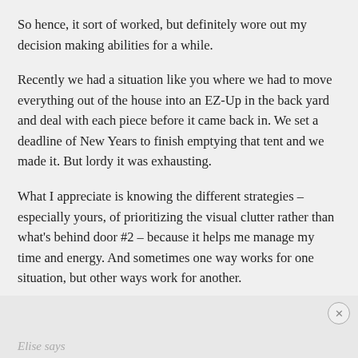So hence, it sort of worked, but definitely wore out my decision making abilities for a while.
Recently we had a situation like you where we had to move everything out of the house into an EZ-Up in the back yard and deal with each piece before it came back in. We set a deadline of New Years to finish emptying that tent and we made it. But lordy it was exhausting.
What I appreciate is knowing the different strategies – especially yours, of prioritizing the visual clutter rather than what's behind door #2 – because it helps me manage my time and energy. And sometimes one way works for one situation, but other ways work for another.
Thank you for giving the rest of us hope and encouraging us to embrace the imperfect way of DOing things. Done is way better than not.
Reply
Elise says